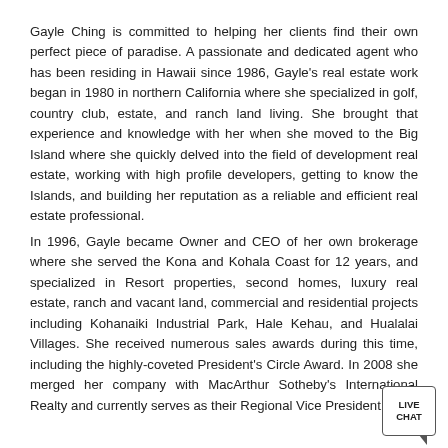Gayle Ching is committed to helping her clients find their own perfect piece of paradise. A passionate and dedicated agent who has been residing in Hawaii since 1986, Gayle's real estate work began in 1980 in northern California where she specialized in golf, country club, estate, and ranch land living. She brought that experience and knowledge with her when she moved to the Big Island where she quickly delved into the field of development real estate, working with high profile developers, getting to know the Islands, and building her reputation as a reliable and efficient real estate professional.
In 1996, Gayle became Owner and CEO of her own brokerage where she served the Kona and Kohala Coast for 12 years, and specialized in Resort properties, second homes, luxury real estate, ranch and vacant land, commercial and residential projects including Kohanaiki Industrial Park, Hale Kehau, and Hualalai Villages. She received numerous sales awards during this time, including the highly-coveted President's Circle Award. In 2008 she merged her company with MacArthur Sotheby's International Realty and currently serves as their Regional Vice President.